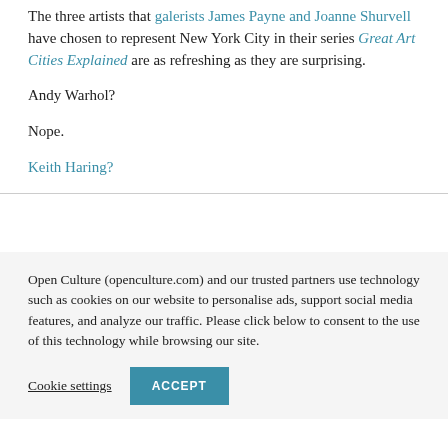The three artists that galerists James Payne and Joanne Shurvell have chosen to represent New York City in their series Great Art Cities Explained are as refreshing as they are surprising.
Andy Warhol?
Nope.
Keith Haring?
Open Culture (openculture.com) and our trusted partners use technology such as cookies on our website to personalise ads, support social media features, and analyze our traffic. Please click below to consent to the use of this technology while browsing our site.
Cookie settings | ACCEPT